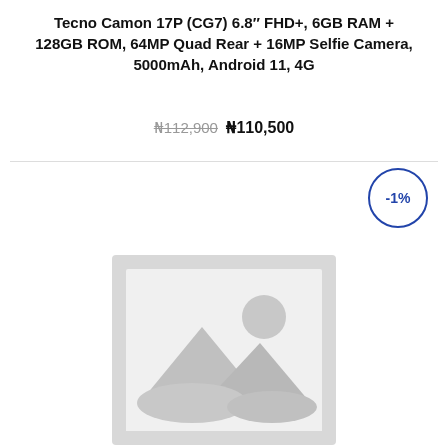Tecno Camon 17P (CG7) 6.8" FHD+, 6GB RAM + 128GB ROM, 64MP Quad Rear + 16MP Selfie Camera, 5000mAh, Android 11, 4G
₦112,900 ₦110,500
[Figure (other): Discount badge showing -1% in a blue circle]
[Figure (illustration): Placeholder product image — grey image icon with mountain and sun silhouette]